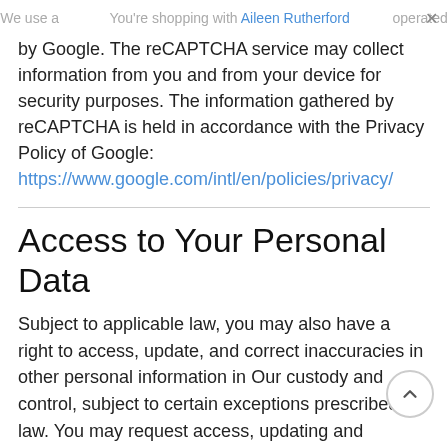We use a ... operated  |  You're shopping with Aileen Rutherford  |  ×
by Google. The reCAPTCHA service may collect information from you and from your device for security purposes. The information gathered by reCAPTCHA is held in accordance with the Privacy Policy of Google: https://www.google.com/intl/en/policies/privacy/
Access to Your Personal Data
Subject to applicable law, you may also have a right to access, update, and correct inaccuracies in other personal information in Our custody and control, subject to certain exceptions prescribed by law. You may request access, updating and corrections of inaccuracies in the personal information we have in Our custody or control by emailing or writing to us at the contact information set out in this Privacy Policy. We may request certain personal information for the